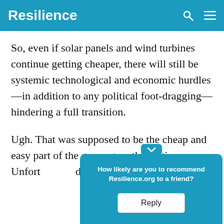Resilience
So, even if solar panels and wind turbines continue getting cheaper, there will still be systemic technological and economic hurdles—in addition to any political foot-dragging—hindering a full transition.
Ugh. That was supposed to be the cheap and easy part of the green-growth solution. Unfort[unately, it turns out to be quite] difficu[lt...] o mainta[in...]
[Figure (screenshot): Popup overlay asking 'How likely are you to recommend Resilience.org to a friend?' with a Reply button]